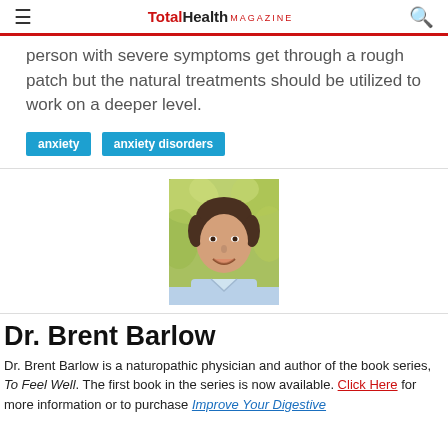TotalHealth MAGAZINE
person with severe symptoms get through a rough patch but the natural treatments should be utilized to work on a deeper level.
anxiety
anxiety disorders
[Figure (photo): Headshot of Dr. Brent Barlow, a smiling man with dark hair wearing a light blue shirt, photographed outdoors with green foliage in the background.]
Dr. Brent Barlow
Dr. Brent Barlow is a naturopathic physician and author of the book series, To Feel Well. The first book in the series is now available. Click Here for more information or to purchase Improve Your Digestive